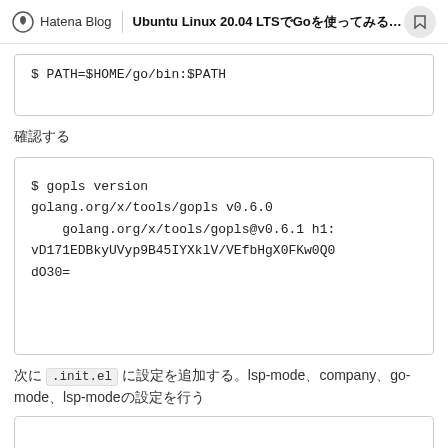Hatena Blog | Ubuntu Linux 20.04 LTSでGoを使ってみる！！...
確認する
次に .init.el に設定を追加する。lsp-mode、company、go-mode、lsp-modeの設定を行う